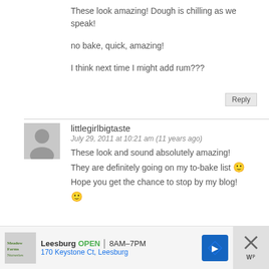These look amazing! Dough is chilling as we speak!
no bake, quick, amazing!
I think next time I might add rum???
Reply
littlegirlbigtaste
July 29, 2011 at 10:21 am (11 years ago)
These look and sound absolutely amazing! They are definitely going on my to-bake list 🙂 Hope you get the chance to stop by my blog! 🙂
Reply